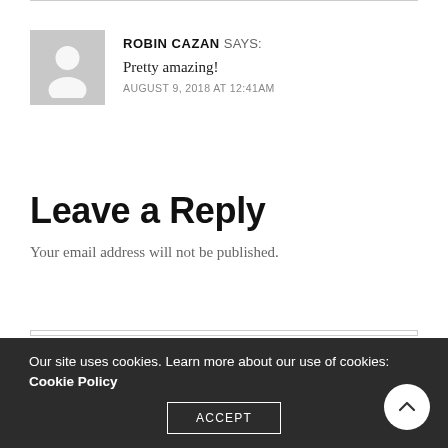ROBIN CAZAN SAYS: Pretty amazing! AUGUST 9, 2018 AT 12:41AM
Leave a Reply
Your email address will not be published.
Your Comment
Our site uses cookies. Learn more about our use of cookies: Cookie Policy
ACCEPT